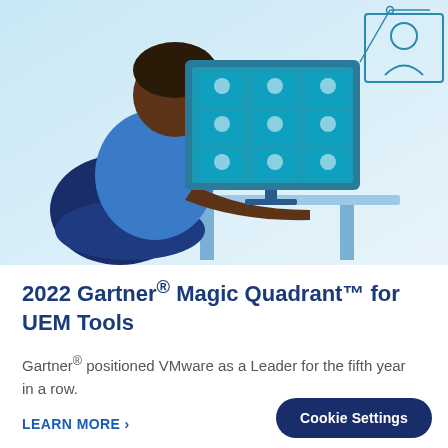[Figure (illustration): Flat-style illustration of a person (dark-skinned, blue shirt) sitting at a desk using a computer. The monitor displays a video call grid with multiple participant silhouettes. To the upper right, a teal outline icon of a person's head inside a rectangle with connecting lines is shown. The background has light blue gradient tones with blue desk and chair elements.]
2022 Gartner® Magic Quadrant™ for UEM Tools
Gartner® positioned VMware as a Leader for the fifth year in a row.
LEARN MORE >
Cookie Settings